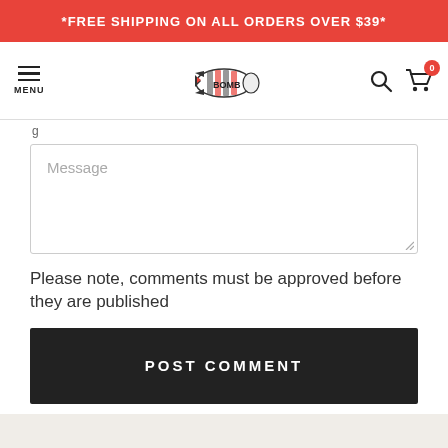*FREE SHIPPING ON ALL ORDERS OVER $39*
[Figure (logo): Bomb brand logo - illustrated bomb/missile with stripes and fins]
Message
Please note, comments must be approved before they are published
POST COMMENT